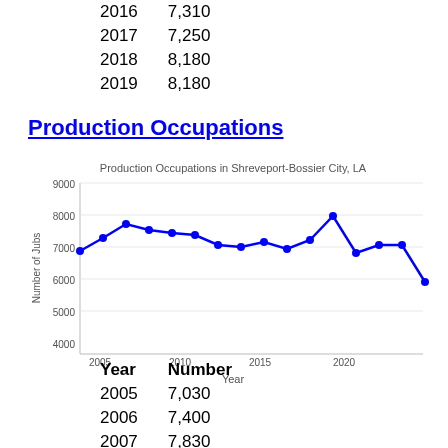| Year | Number |
| --- | --- |
| 2016 | 7,310 |
| 2017 | 7,250 |
| 2018 | 8,180 |
| 2019 | 8,180 |
Production Occupations
[Figure (line-chart): Production Occupations in Shreveport-Bossier City, LA]
| Year | Number |
| --- | --- |
| 2005 | 7,030 |
| 2006 | 7,400 |
| 2007 | 7,830 |